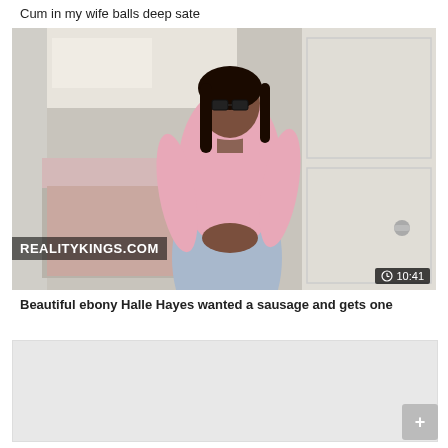Cum in my wife balls deep sate
[Figure (photo): A woman in a pink turtleneck top and light blue jeans standing against a white door with a bedroom in the background. Watermark reads REALITYKINGS.COM. Duration badge shows 10:41.]
Beautiful ebony Halle Hayes wanted a sausage and gets one
[Figure (photo): Second video thumbnail, partially visible, light grey placeholder.]